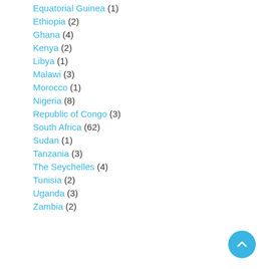Equatorial Guinea (1)
Ethiopia (2)
Ghana (4)
Kenya (2)
Libya (1)
Malawi (3)
Morocco (1)
Nigeria (8)
Republic of Congo (3)
South Africa (62)
Sudan (1)
Tanzania (3)
The Seychelles (4)
Tunisia (2)
Uganda (3)
Zambia (2)